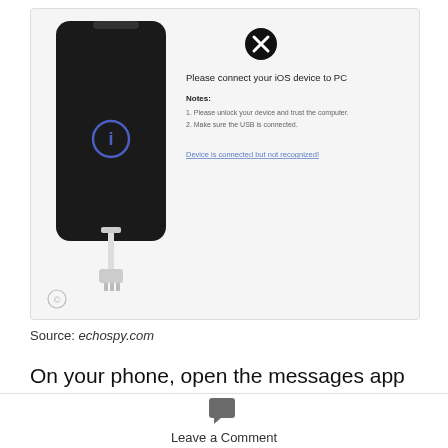[Figure (screenshot): Screenshot of echospy.com iOS connection screen showing a phone illustration with a USB cable, an error X icon, text 'Please connect your iOS device to PC', notes about unlocking device and trusting computer, and a blue link 'Device is connected but not recognized!']
Source: echospy.com
On your phone, open the messages app or contact app, locate the contact and open the contact details or information. By opening the settings in
Leave a Comment